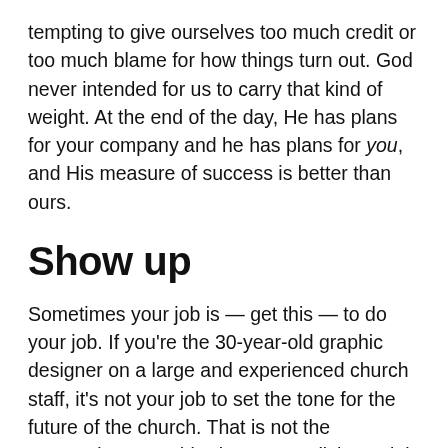tempting to give ourselves too much credit or too much blame for how things turn out. God never intended for us to carry that kind of weight. At the end of the day, He has plans for your company and he has plans for you, and His measure of success is better than ours.
Show up
Sometimes your job is — get this — to do your job. If you're the 30-year-old graphic designer on a large and experienced church staff, it's not your job to set the tone for the future of the church. That is not the transaction I was hired to accomplish. My job is to make websites and videos and graphics and social media marketing campaigns. And I like doing those things! Those transactions actually bring me joy, and